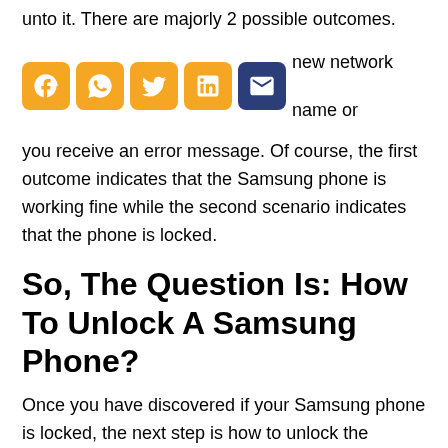unto it. There are majorly 2 possible outcomes.
[Figure (infographic): Row of social media share icons: Facebook, WhatsApp, Twitter, LinkedIn, Email with inline text 'either you type the new network name or']
you receive an error message. Of course, the first outcome indicates that the Samsung phone is working fine while the second scenario indicates that the phone is locked.
So, The Question Is: How To Unlock A Samsung Phone?
Once you have discovered if your Samsung phone is locked, the next step is how to unlock the phone. There are various methods of unlocking Samsung phones but for the sake of this article, we will focus on 2 methods: the